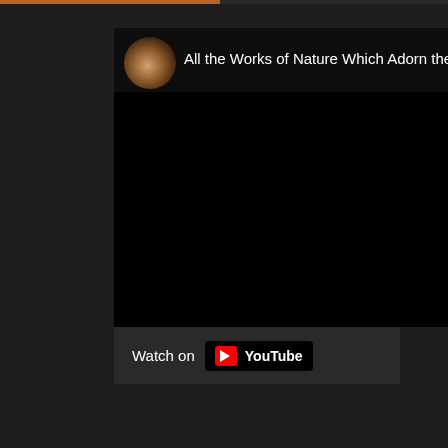[Figure (screenshot): YouTube video embed showing 'All the Works of Nature Which Adorn the W...' with a circular band avatar in the top-left corner and a black video player body, below which is a 'Watch on YouTube' button bar.]
[Figure (screenshot): Partial second YouTube video embed at bottom showing 'All the Works of Nature Which Adorn the W...' with same circular band avatar, cropped at bottom of page.]